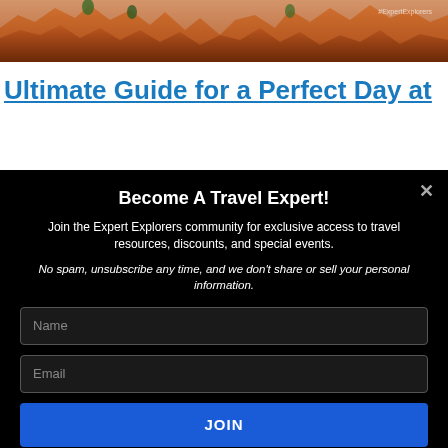[Figure (photo): Red rock canyon landscape (Bryce Canyon style) with orange and red hoodoos, a few green trees visible at top, watermark text '#ExpertExplorers' in upper right]
Ultimate Guide for a Perfect Day at
Become A Travel Expert!
Join the Expert Explorers community for exclusive access to travel resources, discounts, and special events.
No spam, unsubscribe any time, and we don't share or sell your personal information.
Name
Email
JOIN